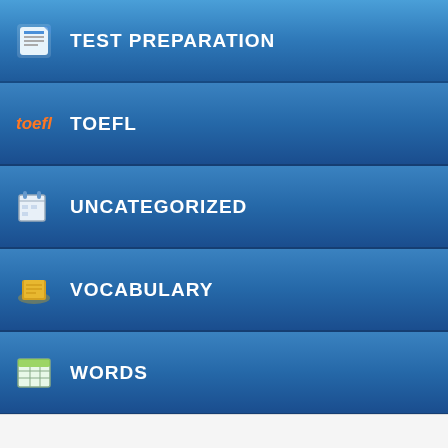TEST PREPARATION
TOEFL
UNCATEGORIZED
VOCABULARY
WORDS
WRITING
indirect speech. He urged them to b...
[Figure (other): Facebook share button (blue with f icon)]
[Figure (other): Twitter share button (blue with bird icon)]
[Figure (other): Widget box with green circle, Insta... title, Correct... and enh... text, red oval button]
EnglishPracti...